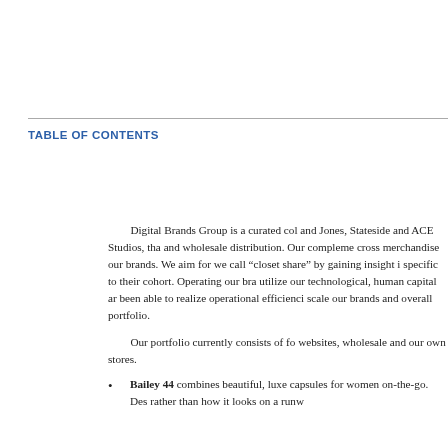TABLE OF CONTENTS
Digital Brands Group is a curated col and Jones, Stateside and ACE Studios, tha and wholesale distribution. Our compleme cross merchandise our brands. We aim for we call “closet share” by gaining insight i specific to their cohort. Operating our bra utilize our technological, human capital ar been able to realize operational efficienci scale our brands and overall portfolio.
Our portfolio currently consists of fo websites, wholesale and our own stores.
Bailey 44 combines beautiful, luxe capsules for women on-the-go. Des rather than how it looks on a runw